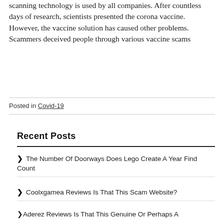scanning technology is used by all companies. After countless days of research, scientists presented the corona vaccine. However, the vaccine solution has caused other problems. Scammers deceived people through various vaccine scams
Posted in Covid-19
Recent Posts
The Number Of Doorways Does Lego Create A Year Find Count
Coolxgamea Reviews Is That This Scam Website?
Aderez Reviews Is That This Genuine Or Perhaps A